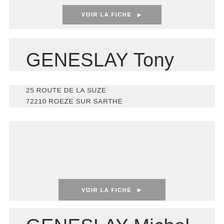VOIR LA FICHE
GENESLAY Tony
25 ROUTE DE LA SUZE
72210 ROEZE SUR SARTHE
VOIR LA FICHE
GENESLAY Michel